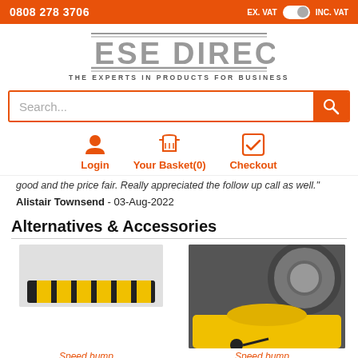0808 278 3706 | EX. VAT | INC. VAT
[Figure (logo): ESE Direct logo - THE EXPERTS IN PRODUCTS FOR BUSINESS]
Search...
[Figure (infographic): Navigation icons: Login, Your Basket(0), Checkout]
good and the price fair. Really appreciated the follow up call as well."
Alistair Townsend - 03-Aug-2022
Alternatives & Accessories
[Figure (photo): Black and yellow striped speed bump - product image]
[Figure (photo): Yellow and black speed bump with car wheel - product image]
Speed bump product labels (partially cut off)